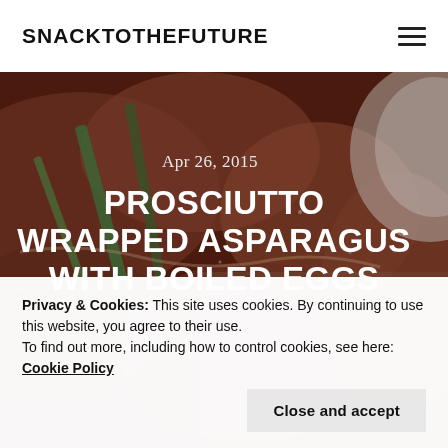SNACKTOTHEFUTURE
[Figure (photo): Close-up food photo of prosciutto wrapped asparagus with a dark reddish-brown meat and green vegetable background on a wooden surface]
Apr 26, 2015
PROSCIUTTO WRAPPED ASPARAGUS WITH BOILED EGGS
Privacy & Cookies: This site uses cookies. By continuing to use this website, you agree to their use.
To find out more, including how to control cookies, see here: Cookie Policy
Close and accept